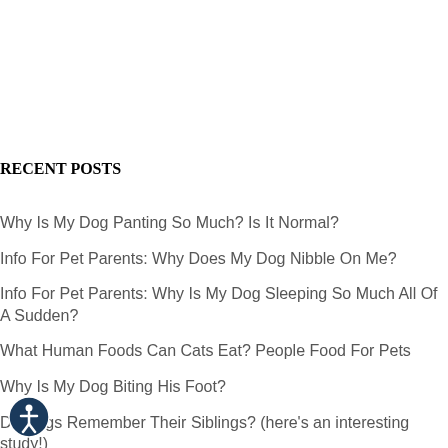RECENT POSTS
Why Is My Dog Panting So Much? Is It Normal?
Info For Pet Parents: Why Does My Dog Nibble On Me?
Info For Pet Parents: Why Is My Dog Sleeping So Much All Of A Sudden?
What Human Foods Can Cats Eat? People Food For Pets
Why Is My Dog Biting His Foot?
Do Dogs Remember Their Siblings? (here's an interesting study!)
Are Cats Ticklish? Info For Pet Parents